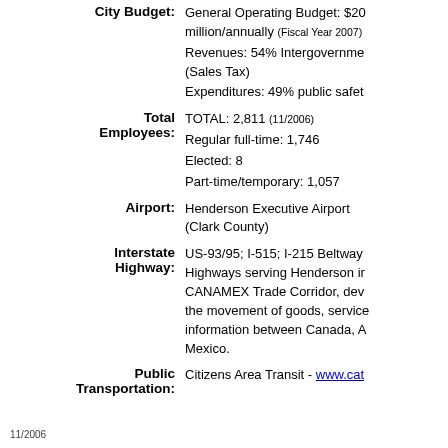City Budget: General Operating Budget: $20 million/annually (Fiscal Year 2007) Revenues: 54% Intergovernmental (Sales Tax) Expenditures: 49% public safety
Total Employees: TOTAL: 2,811 (11/2006) Regular full-time: 1,746 Elected: 8 Part-time/temporary: 1,057
Airport: Henderson Executive Airport (Clark County)
Interstate Highway: US-93/95; I-515; I-215 Beltway Highways serving Henderson in CANAMEX Trade Corridor, dev the movement of goods, service information between Canada, A Mexico.
Public Transportation: Citizens Area Transit - www.cat
11/2006